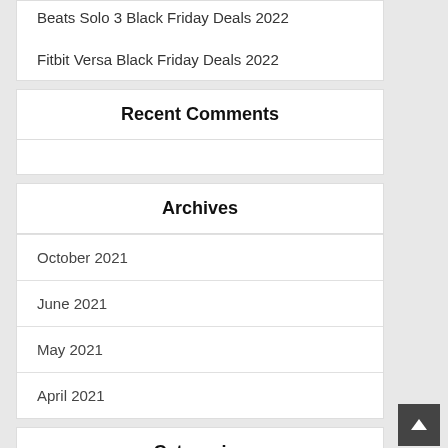Beats Solo 3 Black Friday Deals 2022
Fitbit Versa Black Friday Deals 2022
Recent Comments
Archives
October 2021
June 2021
May 2021
April 2021
Categories